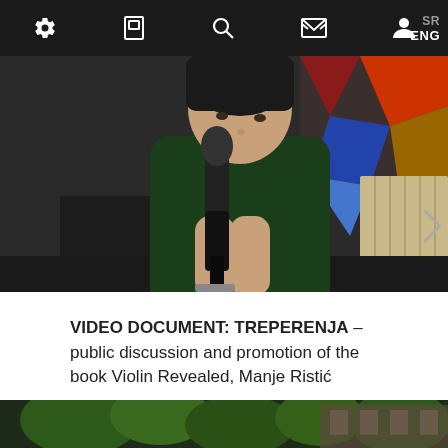SR ENG
[Figure (photo): A person wearing a dark green sweater holding a microphone, leaning forward, speaking at an event. Background shows chairs and a radiator.]
VIDEO DOCUMENT: TREPERENJA – public discussion and promotion of the book Violin Revealed, Manje Ristić
[Figure (photo): Partial view of another photo card at the bottom, showing trees and a building exterior.]